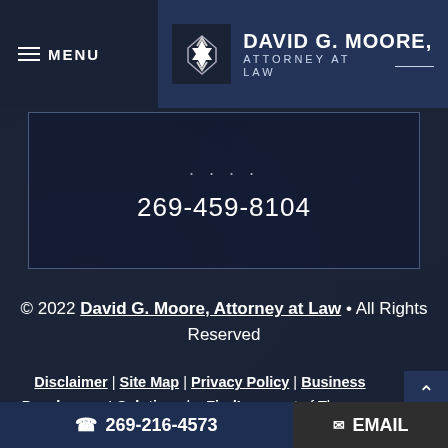MENU | DAVID G. MOORE, ATTORNEY AT LAW
.... 269-459-8104
© 2022 David G. Moore, Attorney at Law • All Rights Reserved
Disclaimer | Site Map | Privacy Policy | Business Development Solutions by FindLaw, part of Thomson Reuters
269-216-4573  EMAIL